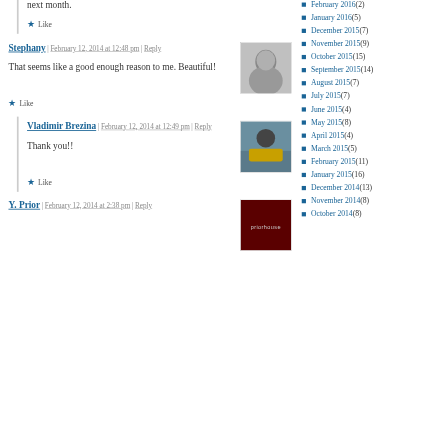next month.
Like
Stephany | February 12, 2014 at 12:48 pm | Reply
That seems like a good enough reason to me. Beautiful!
Like
Vladimir Brezina | February 12, 2014 at 12:49 pm | Reply
Thank you!!
Like
Y. Prior | February 12, 2014 at 2:38 pm | Reply
February 2016 (2)
January 2016 (5)
December 2015 (7)
November 2015 (9)
October 2015 (15)
September 2015 (14)
August 2015 (7)
July 2015 (7)
June 2015 (4)
May 2015 (8)
April 2015 (4)
March 2015 (5)
February 2015 (11)
January 2015 (16)
December 2014 (13)
November 2014 (8)
October 2014 (8)